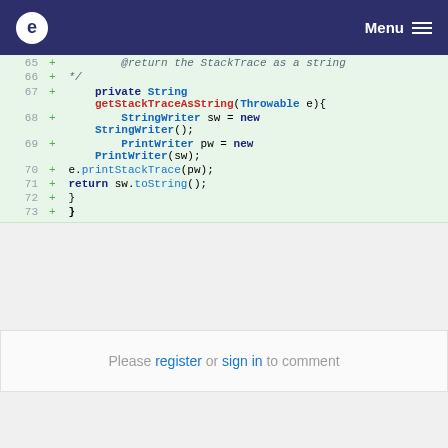e Menu
[Figure (screenshot): Java code diff showing lines 65-73: getStackTraceAsString method with StringWriter and PrintWriter]
Please register or sign in to comment